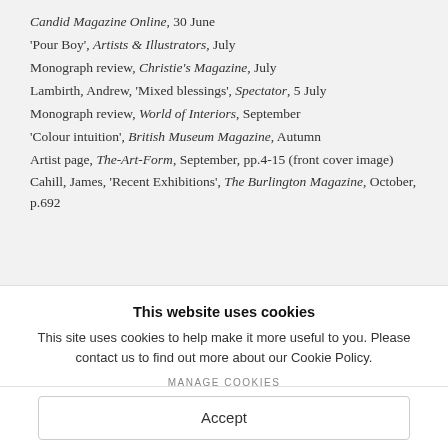Candid Magazine Online, 30 June
'Pour Boy', Artists & Illustrators, July
Monograph review, Christie's Magazine, July
Lambirth, Andrew, 'Mixed blessings', Spectator, 5 July
Monograph review, World of Interiors, September
'Colour intuition', British Museum Magazine, Autumn
Artist page, The-Art-Form, September, pp.4-15 (front cover image)
Cahill, James, 'Recent Exhibitions', The Burlington Magazine, October, p.692
This website uses cookies
This site uses cookies to help make it more useful to you. Please contact us to find out more about our Cookie Policy.
MANAGE COOKIES
Accept